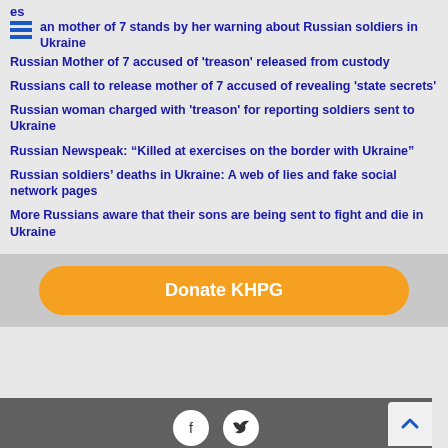es
an mother of 7 stands by her warning about Russian soldiers in Ukraine
Russian Mother of 7 accused of 'treason' released from custody
Russians call to release mother of 7 accused of revealing 'state secrets'
Russian woman charged with 'treason' for reporting soldiers sent to Ukraine
Russian Newspeak: “Killed at exercises on the border with Ukraine”
Russian soldiers’ deaths in Ukraine: A web of lies and fake social network pages
More Russians aware that their sons are being sent to fight and die in Ukraine
[Figure (other): Donate KHPG orange button]
Footer with social media icons (Facebook, Twitter) and scroll-to-top button